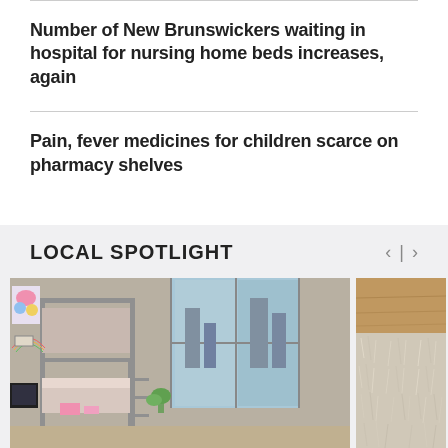Number of New Brunswickers waiting in hospital for nursing home beds increases, again
Pain, fever medicines for children scarce on pharmacy shelves
LOCAL SPOTLIGHT
[Figure (photo): Interior room photo showing a bunk bed with colorful decor and large windows with city view]
[Figure (photo): Close-up photo of a fluffy light-colored textile or animal fur]